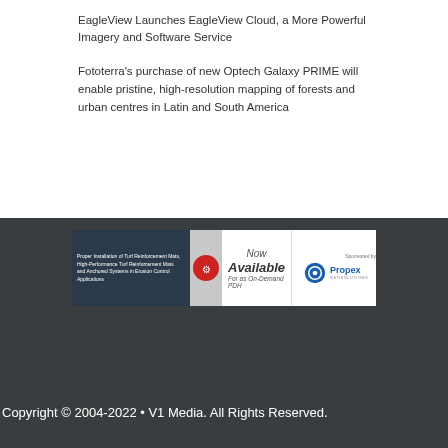EagleView Launches EagleView Cloud, a More Powerful Imagery and Software Service
Fototerra's purchase of new Optech Galaxy PRIME will enable pristine, high-resolution mapping of forests and urban centres in Latin and South America
[Figure (other): Advertisement banner for Propex GeoSolutions: Proper Installation of Turf Reinforcement Mats, High-Performance Turf Reinforcement Mats and Anchored Systems in Erosion Control Applications — Now Available For as On-Demand PDH. Sponsored by Propex GeoSolutions.]
Copyright © 2004-2022 • V1 Media. All Rights Reserved.